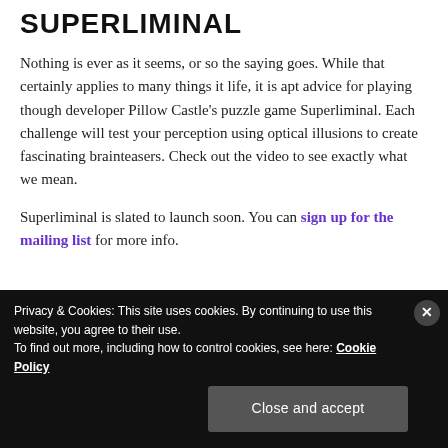SUPERLIMINAL
Nothing is ever as it seems, or so the saying goes. While that certainly applies to many things it life, it is apt advice for playing though developer Pillow Castle's puzzle game Superliminal. Each challenge will test your perception using optical illusions to create fascinating brainteasers. Check out the video to see exactly what we mean.
Superliminal is slated to launch soon. You can sign up for the mailing list for more info.
Privacy & Cookies: This site uses cookies. By continuing to use this website, you agree to their use.
To find out more, including how to control cookies, see here: Cookie Policy
Close and accept